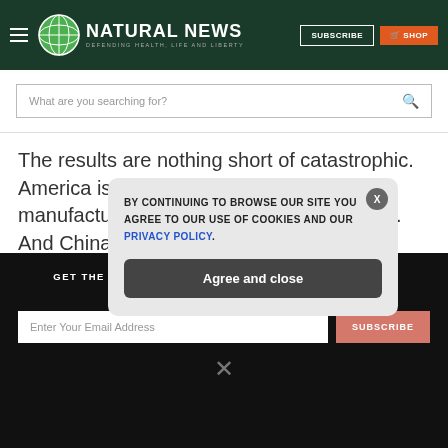NATURAL NEWS — DEFENDING HEALTH, LIFE AND LIBERTY
What are you searching for?
The results are nothing short of catastrophic. America is dismantling its ability to manufacture weapons for national defense. And China is no doubt watching all of this rather closely, projecting the collapse of America's military
GET THE WORLD'S BEST NATURAL HEALTH NEWSLETTER DELIVERED STRAIGHT TO YOUR INBOX
BY CONTINUING TO BROWSE OUR SITE YOU AGREE TO OUR USE OF COOKIES AND OUR PRIVACY POLICY.
Agree and close